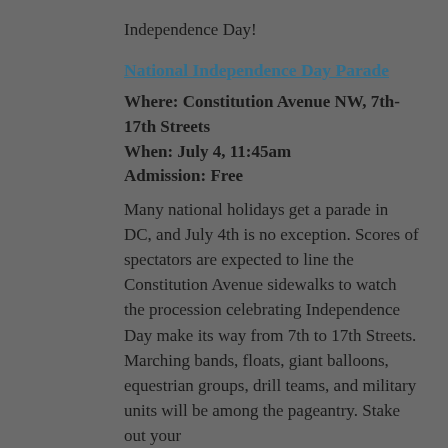Independence Day!
National Independence Day Parade
Where: Constitution Avenue NW, 7th-17th Streets
When: July 4, 11:45am
Admission: Free
Many national holidays get a parade in DC, and July 4th is no exception. Scores of spectators are expected to line the Constitution Avenue sidewalks to watch the procession celebrating Independence Day make its way from 7th to 17th Streets. Marching bands, floats, giant balloons, equestrian groups, drill teams, and military units will be among the pageantry. Stake out your